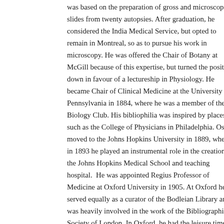was based on the preparation of gross and microscopic slides from twenty autopsies. After graduation, he considered the India Medical Service, but opted to remain in Montreal, so as to pursue his work in microscopy. He was offered the Chair of Botany at McGill because of this expertise, but turned the position down in favour of a lectureship in Physiology. He became Chair of Clinical Medicine at the University of Pennsylvania in 1884, where he was a member of the Biology Club. His bibliophilia was inspired by places such as the College of Physicians in Philadelphia. Osler moved to the Johns Hopkins University in 1889, where in 1893 he played an instrumental role in the creation of the Johns Hopkins Medical School and teaching hospital. He was appointed Regius Professor of Medicine at Oxford University in 1905. At Oxford he served equally as a curator of the Bodleian Library and was heavily involved in the work of the Bibliographical Society of London. In Oxford, he had the leisure time to devote himself to his passion for book collecting, designing a library that would contain the most significant works produced in the history of medicine and science.
Come see a selection of works of natural history and biology in a special exhibition up now in the Osler Room of the Osler